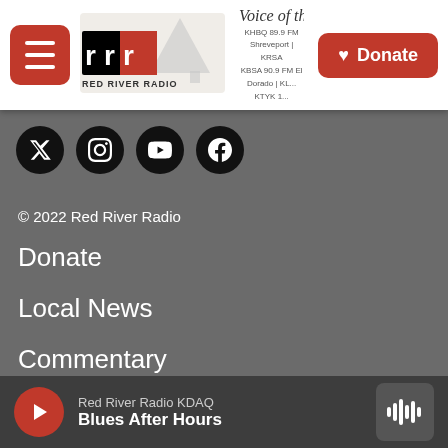Voice of the Comm... | Red River Radio | KHBQ 89.9 FM Shreveport | KRSA | KBSA 90.9 FM El Dorado | KL... | KTYK 1...
[Figure (logo): Red River Radio logo with stylized 'rrr' letters and pine tree silhouette]
© 2022 Red River Radio
Donate
Local News
Commentary
Community Calendar Events
Contact Us
Underwrite Red River Radio
Our Team
Red River Radio KDAQ | Blues After Hours